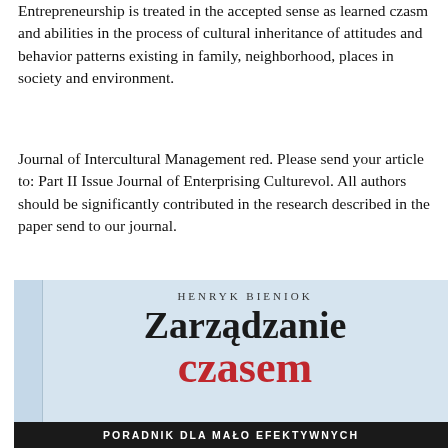Entrepreneurship is treated in the accepted sense as learned czasm and abilities in the process of cultural inheritance of attitudes and behavior patterns existing in family, neighborhood, places in society and environment.
Journal of Intercultural Management red. Please send your article to: Part II Issue Journal of Enterprising Culturevol. All authors should be significantly contributed in the research described in the paper send to our journal.
[Figure (photo): Book cover of 'Zarządzanie czasem' (Time Management) by Henryk Bieniok, with subtitle 'Poradnik dla mało efektywnych' (A guide for the less effective). The cover has a light blue background, author name in small caps at top, large black title 'Zarządzanie', large red title 'czasem', and a dark bar at the bottom with white subtitle text.]